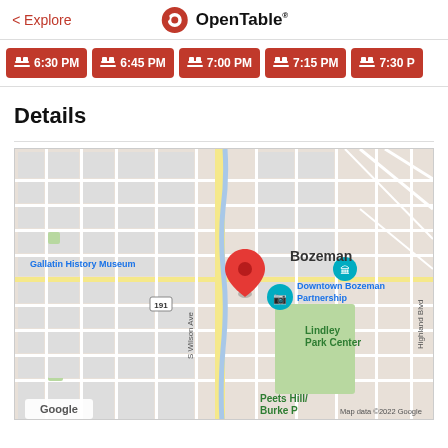< Explore | OpenTable
6:30 PM
6:45 PM
7:00 PM
7:15 PM
7:30 PM
Details
[Figure (map): Google Map showing downtown Bozeman, MT with a red location pin near Main Street. Nearby landmarks include Gallatin History Museum, Downtown Bozeman Partnership, Lindley Park Center, Peets Hill/Burke Park, and route markers for I-90 and 191. Map data ©2022 Google.]